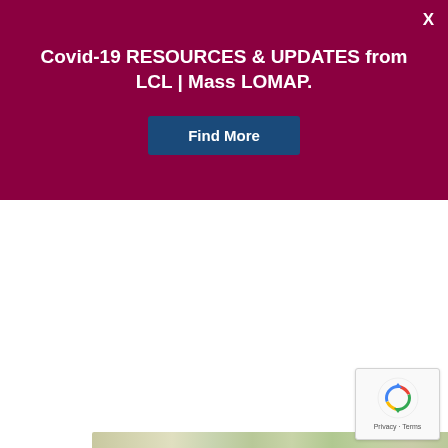X
Covid-19 RESOURCES & UPDATES from LCL | Mass LOMAP.
Find More
[Figure (photo): Blurred outdoor nature/foliage image strip used as decorative banner]
[Figure (other): reCAPTCHA widget showing recycling-arrow logo with 'Privacy · Terms' text]